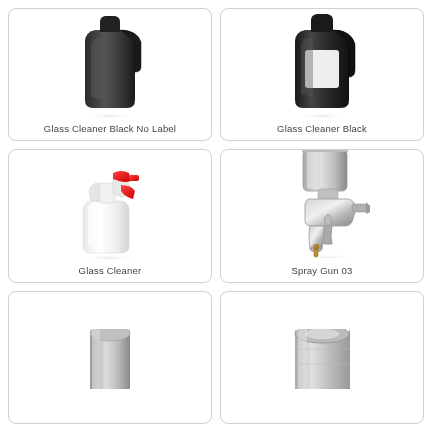[Figure (illustration): 3D render of a black opaque spray bottle without label, side view]
Glass Cleaner Black No Label
[Figure (illustration): 3D render of a black transparent spray bottle with label window, showing empty label area]
Glass Cleaner Black
[Figure (illustration): 3D render of a white spray bottle with red trigger sprayer nozzle]
Glass Cleaner
[Figure (illustration): 3D render of a professional spray gun with silver cup on top and metallic body]
Spray Gun 03
[Figure (illustration): 3D render of a metallic cylindrical spray can or cup, partially visible at bottom of page]
[Figure (illustration): 3D render of a metallic cylindrical aerosol or spray component, partially visible at bottom of page]